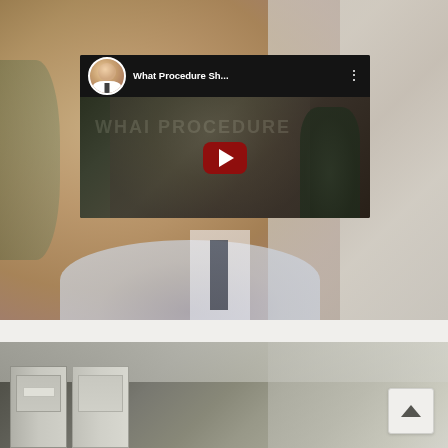[Figure (screenshot): A blurred background photo of a male doctor/physician speaking, overlaid with a YouTube video embed thumbnail. The YouTube embed shows the title 'What Procedure Sh...' with a channel avatar (smiling man in white coat), three-dot menu icon, and a large red YouTube play button over a darkened thumbnail showing a person in a suit. Below the video section is a white divider strip, then a second blurred photo of what appears to be a medical facility corridor with doors.]